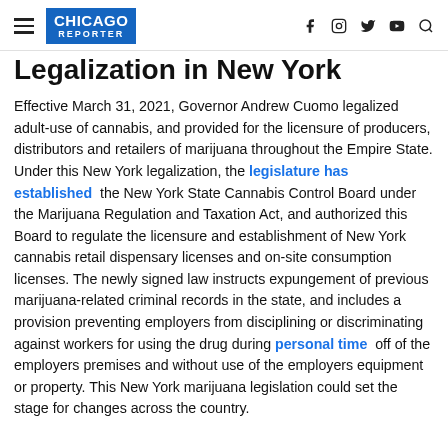CHICAGO REPORTER
Legalization in New York
Effective March 31, 2021, Governor Andrew Cuomo legalized adult-use of cannabis, and provided for the licensure of producers, distributors and retailers of marijuana throughout the Empire State. Under this New York legalization, the legislature has established the New York State Cannabis Control Board under the Marijuana Regulation and Taxation Act, and authorized this Board to regulate the licensure and establishment of New York cannabis retail dispensary licenses and on-site consumption licenses. The newly signed law instructs expungement of previous marijuana-related criminal records in the state, and includes a provision preventing employers from disciplining or discriminating against workers for using the drug during personal time off of the employers premises and without use of the employers equipment or property. This New York marijuana legislation could set the stage for changes across the country.